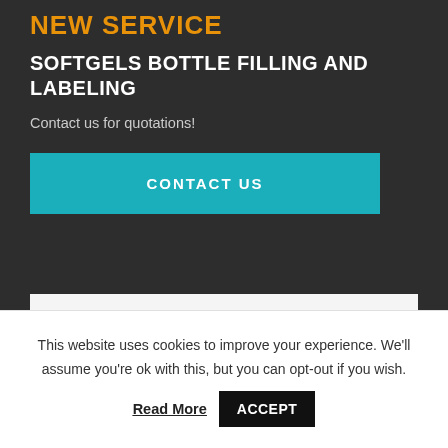NEW SERVICE
SOFTGELS BOTTLE FILLING AND LABELING
Contact us for quotations!
CONTACT US
[Figure (photo): Softgel capsules (yellow/amber colored) on white background]
This website uses cookies to improve your experience. We'll assume you're ok with this, but you can opt-out if you wish.
Read More  ACCEPT